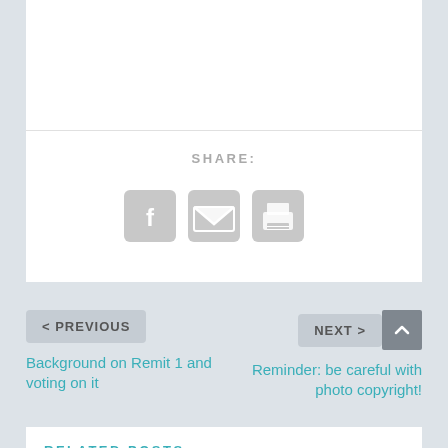SHARE:
[Figure (infographic): Three social sharing icon buttons: Facebook (f), Email (envelope), and Print (printer), rendered as grey rounded squares]
< PREVIOUS
Background on Remit 1 and voting on it
NEXT >
Reminder: be careful with photo copyright!
RELATED POSTS